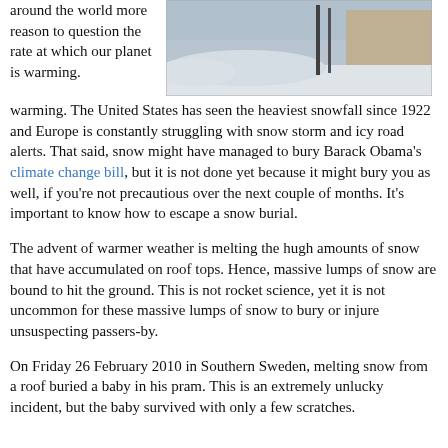around the world more reason to question the rate at which our planet is warming. The United States has seen the heaviest snowfall since 1922 and Europe is constantly struggling with snow storm and icy road alerts. That said, snow might have managed to bury Barack Obama's climate change bill, but it is not done yet because it might bury you as well, if you're not precautious over the next couple of months. It's important to know how to escape a snow burial.
[Figure (photo): Photo of a building exterior with heavy snow on the ground and against the wall]
The advent of warmer weather is melting the hugh amounts of snow that have accumulated on roof tops. Hence, massive lumps of snow are bound to hit the ground. This is not rocket science, yet it is not uncommon for these massive lumps of snow to bury or injure unsuspecting passers-by.
On Friday 26 February 2010 in Southern Sweden, melting snow from a roof buried a baby in his pram. This is an extremely unlucky incident, but the baby survived with only a few scratches.